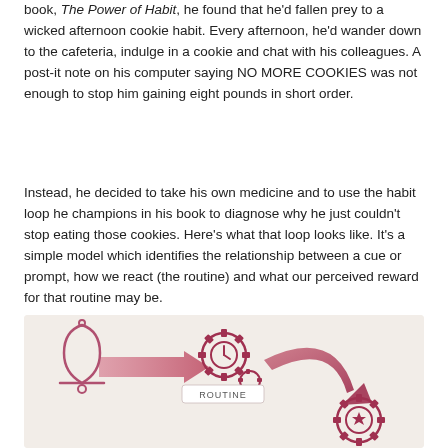book, The Power of Habit, he found that he'd fallen prey to a wicked afternoon cookie habit. Every afternoon, he'd wander down to the cafeteria, indulge in a cookie and chat with his colleagues. A post-it note on his computer saying NO MORE COOKIES was not enough to stop him gaining eight pounds in short order.
Instead, he decided to take his own medicine and to use the habit loop he champions in his book to diagnose why he just couldn't stop eating those cookies. Here's what that loop looks like. It's a simple model which identifies the relationship between a cue or prompt, how we react (the routine) and what our perceived reward for that routine may be.
[Figure (infographic): Habit loop infographic on a beige/tan background showing three elements: a bell icon (cue), a gear-with-clock icon labeled ROUTINE, and a gear-with-star icon (reward), connected by curved pink/mauve arrows forming a loop.]